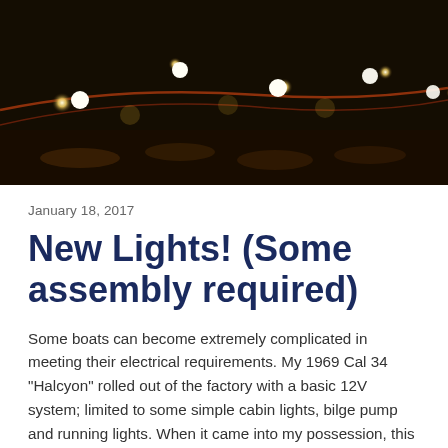[Figure (photo): Close-up photo of LED strip lights glowing warm yellow-white against a dark background, with streaks of orange-red light]
January 18, 2017
New Lights! (Some assembly required)
Some boats can become extremely complicated in meeting their electrical requirements. My 1969 Cal 34 "Halcyon" rolled out of the factory with a basic 12V system; limited to some simple cabin lights, bilge pump and running lights. When it came into my possession, this is what I had to start with. The time has come to add some additional lighting options forward